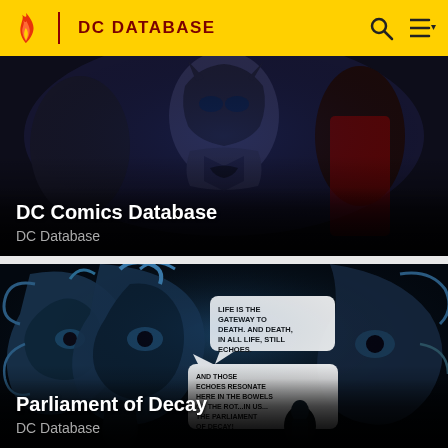DC DATABASE
[Figure (screenshot): DC Comics Database card with dark comic artwork showing armored superhero figures]
DC Comics Database
DC Database
[Figure (screenshot): Parliament of Decay card with dark blue comic artwork showing swirling supernatural faces with speech bubbles reading 'Life is the gateway to death. And death, in all life, still echoes.' and 'And those echoes resonate here in the bowels of the rot...in us... The Parliament of Decay!']
Parliament of Decay
DC Database